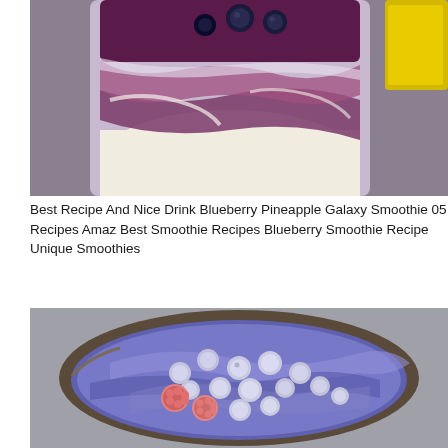[Figure (photo): Close-up photo of a layered blueberry pineapple galaxy smoothie in a glass jar, showing purple and cream swirled layers with fresh blueberries on top, and a yellow container in the background.]
Best Recipe And Nice Drink Blueberry Pineapple Galaxy Smoothie 05 Recipes Amaz Best Smoothie Recipes Blueberry Smoothie Recipe Unique Smoothies
[Figure (photo): Top-down photo of a bowl containing a blue and purple galaxy-colored smoothie base topped with frozen blueberries and raspberries, viewed from above on a gray surface.]